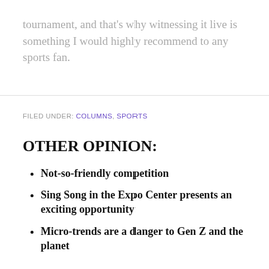tournament, and that's why witnessing it live is something I would highly recommend to any sports fan.
FILED UNDER: COLUMNS, SPORTS
OTHER OPINION:
Not-so-friendly competition
Sing Song in the Expo Center presents an exciting opportunity
Micro-trends are a danger to Gen Z and the planet